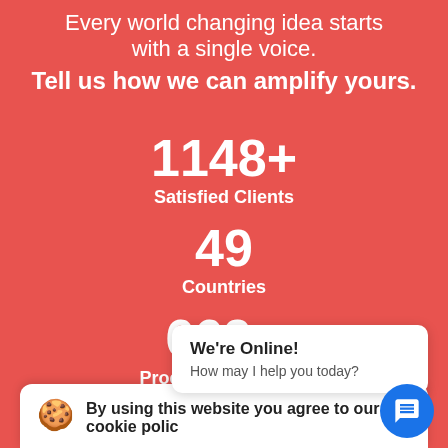Every world changing idea starts with a single voice.
Tell us how we can amplify yours.
1148+
Satisfied Clients
49
Countries
669+
Products & Options
956+
By using this website you agree to our cookie polic…
We're Online!
How may I help you today?